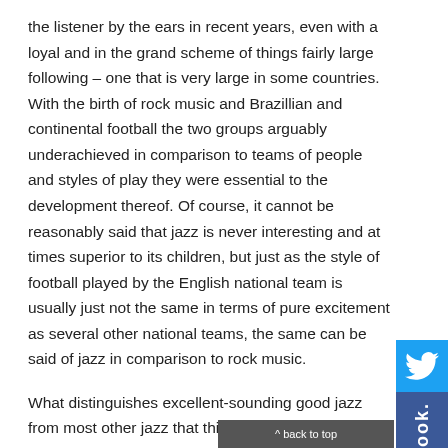the listener by the ears in recent years, even with a loyal and in the grand scheme of things fairly large following – one that is very large in some countries. With the birth of rock music and Brazillian and continental football the two groups arguably underachieved in comparison to teams of people and styles of play they were essential to the development thereof. Of course, it cannot be reasonably said that jazz is never interesting and at times superior to its children, but just as the style of football played by the English national team is usually just not the same in terms of pure excitement as several other national teams, the same can be said of jazz in comparison to rock music.
What distinguishes excellent-sounding good jazz from most other jazz that this reviewer has heard is that it is genuinely fascinating – not necessarily throughout but for the most part at least. A musician might exhibit plenty of skill but if such abilities are not presented in a captivating way, the music is severely handicapped. Indeed, as is the case in lots of punk rock, a charismatic presence or way of conveying a mood or message through music can make up for a lack of skill.
^ back to top